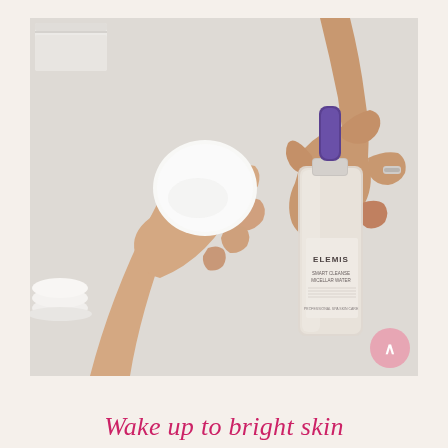[Figure (photo): A top-down photo of two hands on a white surface. The left hand holds a white circular cotton pad. The right hand (wearing a silver ring) holds an ELEMIS Smart Cleanse Micellar Water bottle with a purple and chrome pump. On the left side, a stack of white cotton pads on a white dish is partially visible. In the top-left corner, a white folded towel is visible.]
Wake up to bright skin